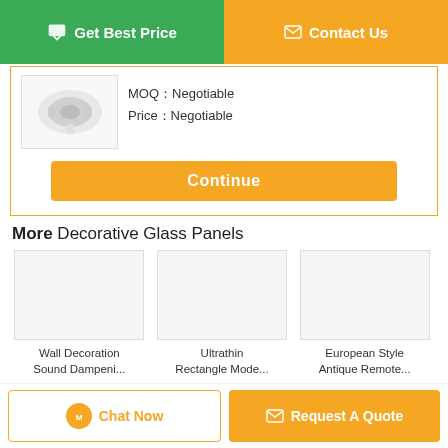[Figure (screenshot): Get Best Price button (green) and Contact Us button (orange) at the top]
[Figure (photo): Product image of headphones/speaker inside a bordered card with MOQ and Price info]
MOQ：Negotiable
Price：Negotiable
[Figure (screenshot): Continue button (orange)]
More  Decorative Glass Panels
[Figure (photo): Wall Decoration Sound Dampeni... product thumbnail]
Wall Decoration Sound Dampeni...
[Figure (photo): Ultrathin Rectangle Mode... product thumbnail]
Ultrathin Rectangle Mode...
[Figure (photo): European Style Antique Remote... product thumbnail]
European Style Antique Remote...
Change Language
english
[Figure (screenshot): Chat Now button and Request A Quote button at the bottom]